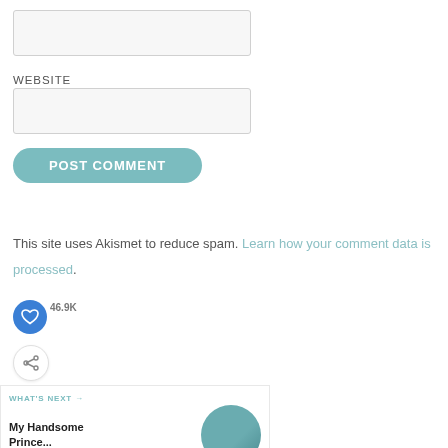[Figure (screenshot): Empty text input field (email or name field)]
WEBSITE
[Figure (screenshot): Empty text input field for website URL]
[Figure (screenshot): POST COMMENT button (teal/rounded)]
[Figure (infographic): Blue heart icon button (like/favorite) and share icon button overlapping a counter showing 46.9K]
This site uses Akismet to reduce spam. Learn how your comment data is processed.
[Figure (screenshot): WHAT'S NEXT navigation block with title 'My Handsome Prince...' and circular thumbnail image]